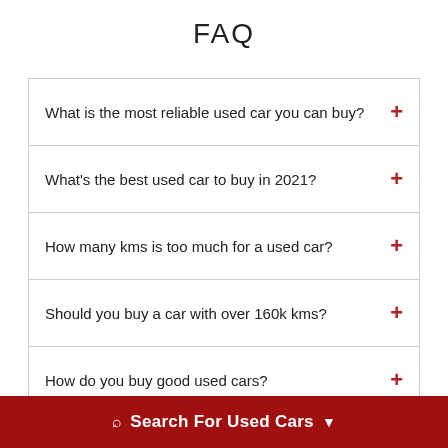FAQ
What is the most reliable used car you can buy?
What's the best used car to buy in 2021?
How many kms is too much for a used car?
Should you buy a car with over 160k kms?
How do you buy good used cars?
Is a high mileage car worth buying?
Does mileage matter on used cars?
Search For Used Cars